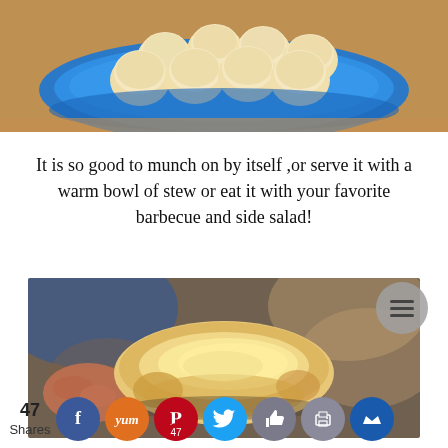[Figure (photo): Small round bread rolls on a blue plate on a wooden surface, viewed from slightly above]
It is so good to munch on by itself ,or serve it with a warm bowl of stew or eat it with your favorite barbecue and side salad!
[Figure (photo): Close-up of a hand holding a bread roll that has been torn open, showing the hollow cheesy interior, with more rolls blurred in background on a blue plate]